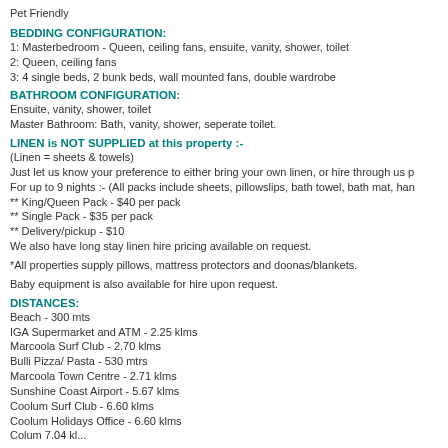Pet Friendly
BEDDING CONFIGURATION:
1: Masterbedroom - Queen, ceiling fans, ensuite, vanity, shower, toilet
2: Queen, ceiling fans
3: 4 single beds, 2 bunk beds, wall mounted fans, double wardrobe
BATHROOM CONFIGURATION:
Ensuite, vanity, shower, toilet
Master Bathroom: Bath, vanity, shower, seperate toilet.
LINEN is NOT SUPPLIED at this property :-
(Linen = sheets & towels)
Just let us know your preference to either bring your own linen, or hire through us p...
For up to 9 nights :- (All packs include sheets, pillowslips, bath towel, bath mat, han...
** King/Queen Pack - $40 per pack
** Single Pack - $35 per pack
** Delivery/pickup - $10
We also have long stay linen hire pricing available on request.
*All properties supply pillows, mattress protectors and doonas/blankets.
Baby equipment is also available for hire upon request.
DISTANCES:
Beach - 300 mts
IGA Supermarket and ATM - 2.25 klms
Marcoola Surf Club - 2.70 klms
Bulli Pizza/ Pasta - 530 mtrs
Marcoola Town Centre - 2.71 klms
Sunshine Coast Airport - 5.67 klms
Coolum Surf Club - 6.60 klms
Coolum Holidays Office - 6.60 klms
Colum 7.04 kl...